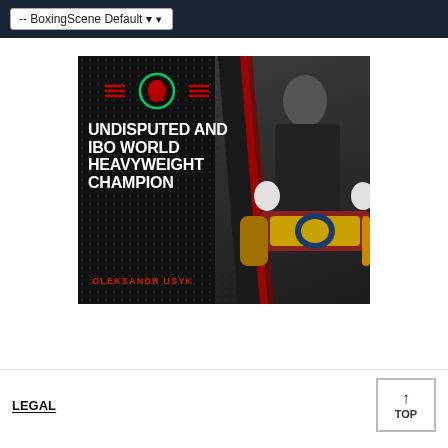-- BoxingScene Default
[Figure (photo): Promotional graphic for Oleksandr Usyk featuring dark background with boxing gloves icon, bold white text reading 'UNDISPUTED AND IBO WORLD HEAVYWEIGHT CHAMPION', red name text 'OLEKSANDR USYK', and a photo of the boxer holding multiple championship belts]
LEGAL
TOP